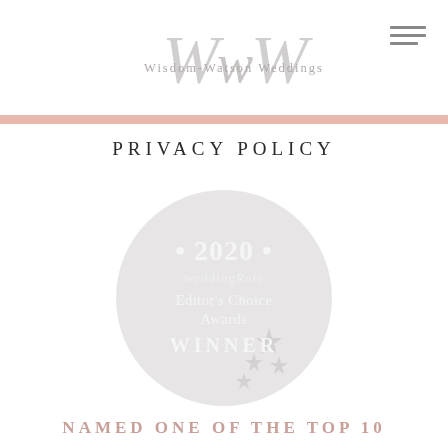[Figure (logo): Wisdom-Watson Weddings logo with decorative WW monogram in light gray and serif text below]
[Figure (illustration): Hamburger menu icon with three horizontal lines]
PRIVACY POLICY
[Figure (illustration): 2020 WeddingRule Editor's Choice Awards WINNER badge — circular gray badge with star decorations]
NAMED ONE OF THE TOP 10